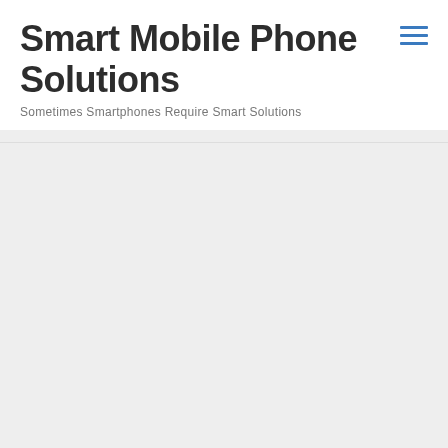Smart Mobile Phone Solutions
Sometimes Smartphones Require Smart Solutions